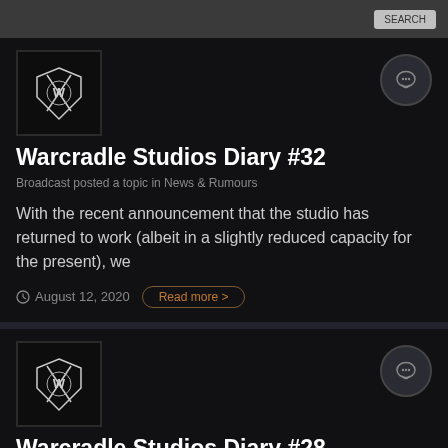[Figure (logo): Warcradle Studios logo — ornate white emblem on black background]
Warcradle Studios Diary #32
Broadcast posted a topic in News & Rumours
With the recent announcement that the studio has returned to work (albeit in a slightly reduced capacity for the present), we
August 12, 2020
[Figure (logo): Warcradle Studios logo — ornate white emblem on black background]
Warcradle Studios Diary #28
Broadcast posted a topic in News & Rumours
As the situation with the coronavirus COVID-19 continues to develop and the United Kingdom enters a further extended